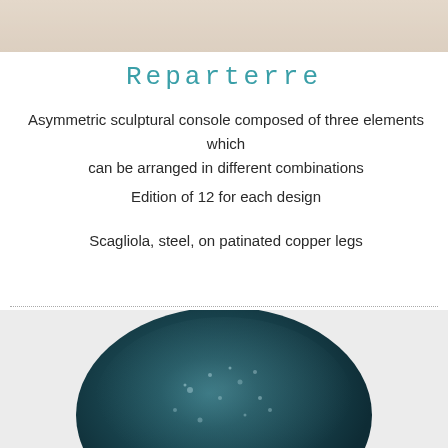[Figure (photo): Top portion of a product photo showing a beige/cream background, likely the top surface of the Reparterre console]
Reparterre
Asymmetric sculptural console composed of three elements which can be arranged in different combinations
Edition of 12 for each design
Scagliola, steel, on patinated copper legs
[Figure (photo): Dark teal/navy blue oval stone or scagliola material surface with speckled texture, photographed against a light grey/white background]